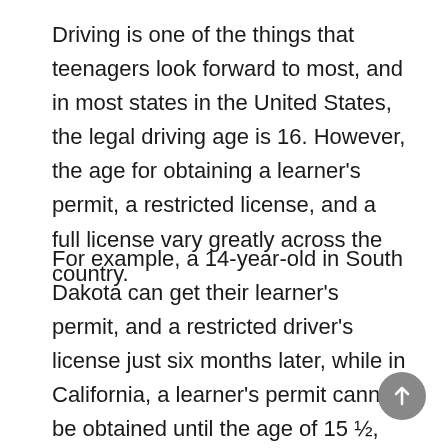Driving is one of the things that teenagers look forward to most, and in most states in the United States, the legal driving age is 16. However, the age for obtaining a learner's permit, a restricted license, and a full license vary greatly across the country.
For example, a 14-year-old in South Dakota can get their learner's permit, and a restricted driver's license just six months later, while in California, a learner's permit cannot be obtained until the age of 15 ½, and a teenager can't have a full license until they are seventeen years old. But one thing that all states have in